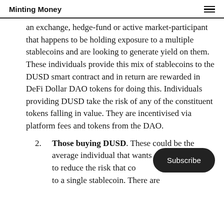Minting Money
an exchange, hedge-fund or active market-participant that happens to be holding exposure to a multiple stablecoins and are looking to generate yield on them. These individuals provide this mix of stablecoins to the DUSD smart contract and in return are rewarded in DeFi Dollar DAO tokens for doing this. Individuals providing DUSD take the risk of any of the constituent tokens falling in value. They are incentivised via platform fees and tokens from the DAO.
Those buying DUSD. These could be the average individual that wants [obscured] value to reduce the risk that co[obscured] exposure to a single stablecoin. There are